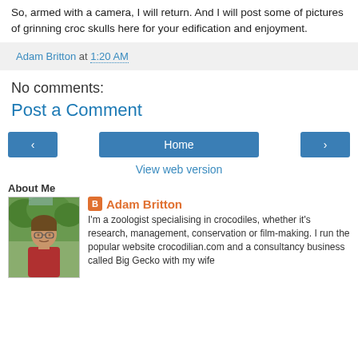So, armed with a camera, I will return. And I will post some of pictures of grinning croc skulls here for your edification and enjoyment.
Adam Britton at 1:20 AM
No comments:
Post a Comment
[Figure (screenshot): Navigation buttons: left arrow, Home, right arrow]
View web version
About Me
[Figure (photo): Profile photo of Adam Britton, a man in a red shirt outdoors with green trees behind him]
Adam Britton
I'm a zoologist specialising in crocodiles, whether it's research, management, conservation or film-making. I run the popular website crocodilian.com and a consultancy business called Big Gecko with my wife